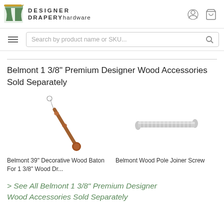DESIGNER DRAPERY hardware
Search by product name or SKU...
Belmont 1 3/8" Premium Designer Wood Accessories Sold Separately
[Figure (photo): Belmont 39" Decorative Wood Baton for 1 3/8" Wood drapery rod]
Belmont 39" Decorative Wood Baton For 1 3/8" Wood Dr...
[Figure (photo): Belmont Wood Pole Joiner Screw - silver threaded screw]
Belmont Wood Pole Joiner Screw
> See All Belmont 1 3/8" Premium Designer Wood Accessories Sold Separately